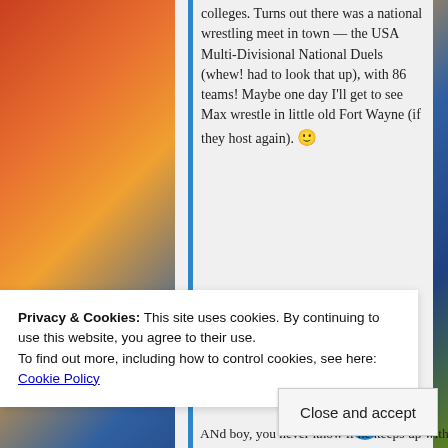colleges. Turns out there was a national wrestling meet in town — the USA Multi-Divisional National Duels (whew! had to look that up), with 86 teams! Maybe one day I'll get to see Max wrestle in little old Fort Wayne (if they host again). 🙂
★ Like
Privacy & Cookies: This site uses cookies. By continuing to use this website, you agree to their use. To find out more, including how to control cookies, see here: Cookie Policy
Close and accept
ANd boy, you never know if he keeps up with